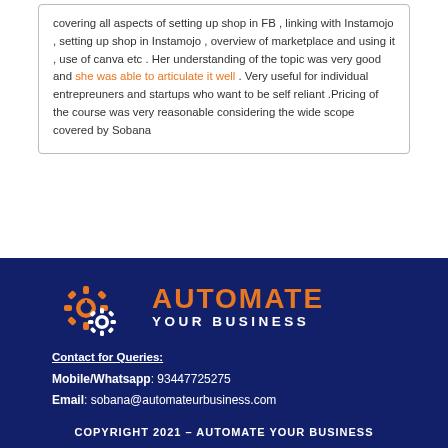covering all aspects of setting up shop in FB , linking with Instamojo , setting up shop in Instamojo , overview of marketplace and using it , use of canva etc . Her understanding of the topic was very good and she was able to articulate it well . Very useful for individual entrepreuners and startups who want to be self reliant .Pricing of the course was very reasonable considering the wide scope covered by Sobana
[Figure (logo): Automate Your Business logo with two gear icons in orange and white on dark navy background, with text AUTOMATE in orange and YOUR BUSINESS in white below]
Contact for Queries:
Mobile/Whatsapp: 93447725275
Email: sobana@automateurbusiness.com
COPYRIGHT 2021 – AUTOMATE YOUR BUSINESS